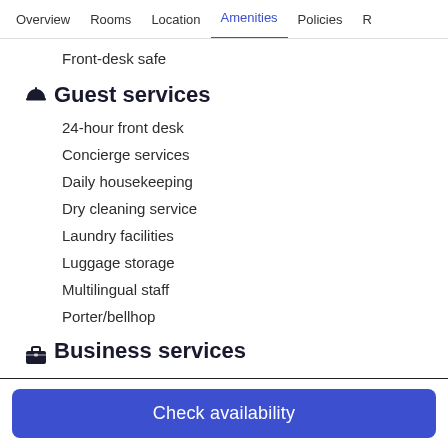Overview  Rooms  Location  Amenities  Policies  R
Front-desk safe
Guest services
24-hour front desk
Concierge services
Daily housekeeping
Dry cleaning service
Laundry facilities
Luggage storage
Multilingual staff
Porter/bellhop
Business services
Conference space (570 square feet)
Check availability